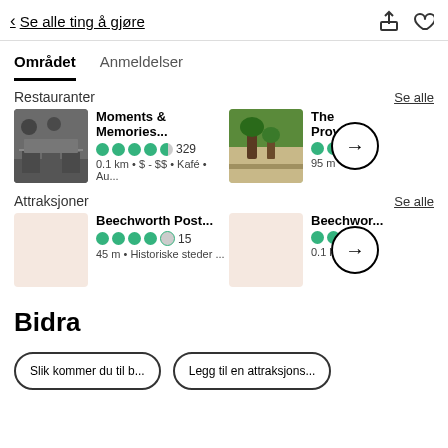← Se alle ting å gjøre
Området   Anmeldelser
Restauranter
Se alle
Moments & Memories... ●●●●◐ 329 0.1 km • $ - $$ • Kafé • Au...
The Prove... 95 m
Attraksjoner
Se alle
Beechworth Post... ●●●●○ 15 45 m • Historiske steder ...
Beechwor... 0.1 k...
Bidra
Slik kommer du til b...   Legg til en attraksjons...